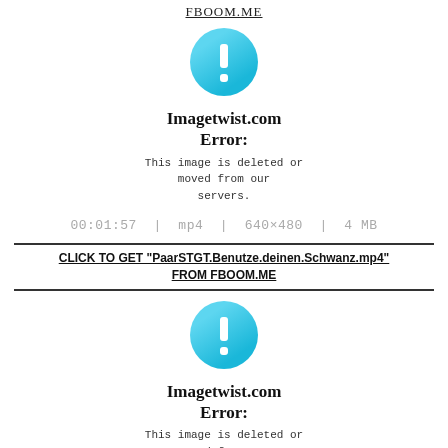FBOOM.ME
[Figure (illustration): Cyan circle with white exclamation mark icon (Imagetwist.com error icon)]
Imagetwist.com Error:
This image is deleted or moved from our servers.
00:01:57 | mp4 | 640×480 | 4 MB
CLICK TO GET "PaarSTGT.Benutze.deinen.Schwanz.mp4" FROM FBOOM.ME
[Figure (illustration): Cyan circle with white exclamation mark icon (Imagetwist.com error icon)]
Imagetwist.com Error:
This image is deleted or moved from our servers.